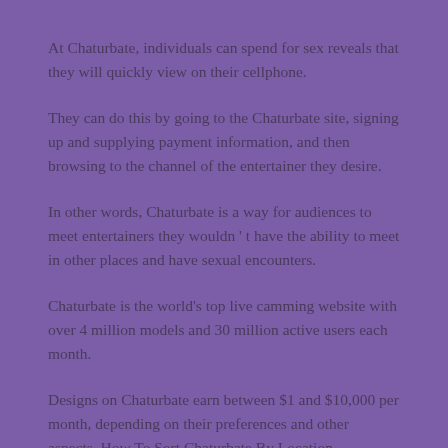At Chaturbate, individuals can spend for sex reveals that they will quickly view on their cellphone.
They can do this by going to the Chaturbate site, signing up and supplying payment information, and then browsing to the channel of the entertainer they desire.
In other words, Chaturbate is a way for audiences to meet entertainers they wouldn ' t have the ability to meet in other places and have sexual encounters.
Chaturbate is the world's top live camming website with over 4 million models and 30 million active users each month.
Designs on Chaturbate earn between $1 and $10,000 per month, depending on their preferences and other aspects. How To Sort Chaturbate By Location